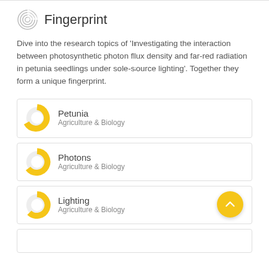Fingerprint
Dive into the research topics of 'Investigating the interaction between photosynthetic photon flux density and far-red radiation in petunia seedlings under sole-source lighting'. Together they form a unique fingerprint.
Petunia
Agriculture & Biology
Photons
Agriculture & Biology
Lighting
Agriculture & Biology